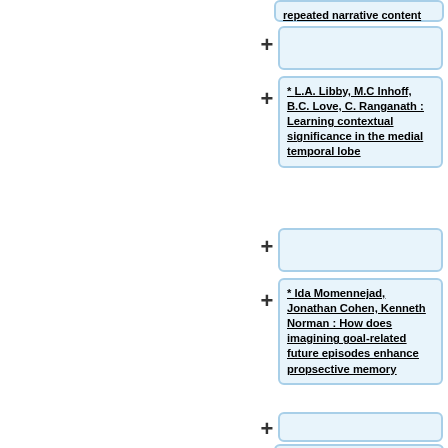repeated narrative content
* '''L.A. Libby, M.C Inhoff, B.C. Love, C. Ranganath''' : Learning contextual significance in the medial temporal lobe
* '''Ida Momennejad, Jonathan Cohen, Kenneth Norman''' : How does imagining goal-related future episodes enhance propsective memory
* '''Jessica Robin, Luisa Gomes, Morris Moscovitch'''